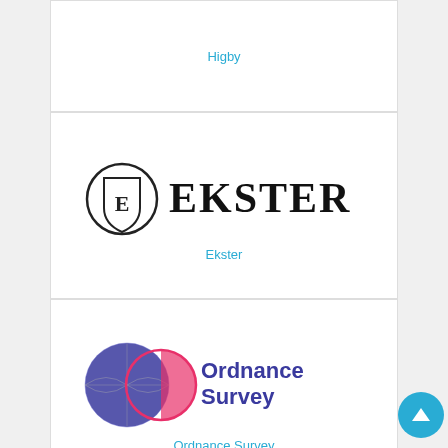[Figure (logo): Partial card top showing 'Higby' link text in cyan, cut off at top]
Higby
[Figure (logo): Ekster brand logo — shield emblem with letter E and stylized EKSTER wordmark in black serif]
Ekster
[Figure (logo): Ordnance Survey logo — two overlapping circles (blue globe and pink/magenta circle) beside 'Ordnance Survey' text in purple]
Ordnance Survey
[Figure (logo): Network Solutions logo — green square with white 'ns' letters beside 'network solutions' text in dark teal/grey]